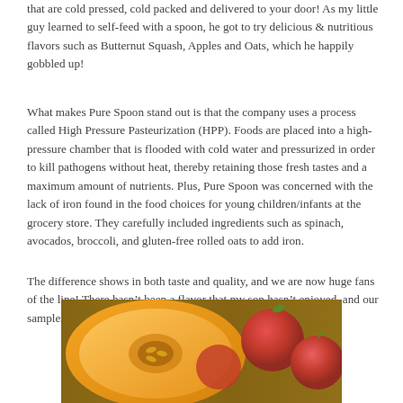that are cold pressed, cold packed and delivered to your door! As my little guy learned to self-feed with a spoon, he got to try delicious & nutritious flavors such as Butternut Squash, Apples and Oats, which he happily gobbled up!
What makes Pure Spoon stand out is that the company uses a process called High Pressure Pasteurization (HPP). Foods are placed into a high-pressure chamber that is flooded with cold water and pressurized in order to kill pathogens without heat, thereby retaining those fresh tastes and a maximum amount of nutrients. Plus, Pure Spoon was concerned with the lack of iron found in the food choices for young children/infants at the grocery store. They carefully included ingredients such as spinach, avocados, broccoli, and gluten-free rolled oats to add iron.
The difference shows in both taste and quality, and we are now huge fans of the line! There hasn’t been a flavor that my son hasn’t enjoyed, and our samples disappeared in no time!
[Figure (photo): Photo of butternut squash cut in half showing orange flesh, and red apples on a wooden background]